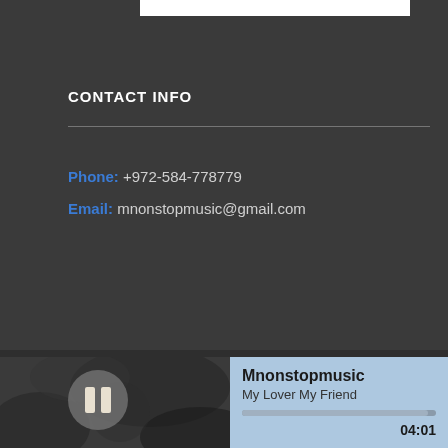CONTACT INFO
Phone: +972-584-778779
Email: mnonstopmusic@gmail.com
© Copyright 2020 Mnonstopmusic.
Mnonstopmusic
My Lover My Friend
04:01